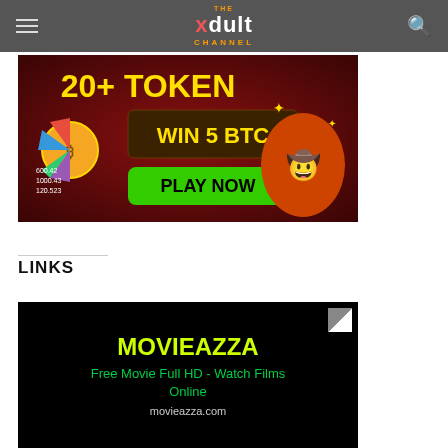THE xdult CHANNEL
[Figure (other): Crypto casino advertisement banner showing '20+ TOKEN', 'WIN 5 BTC', 'PLAY NOW' with a spin wheel and cartoon crocodile character]
LINKS
[Figure (other): MOVIEAZZA website card — black background with yellow-green text 'MOVIEAZZA', green subtitle 'Free Movie Full HD - Watch Films Online', and URL 'movieazza.com']